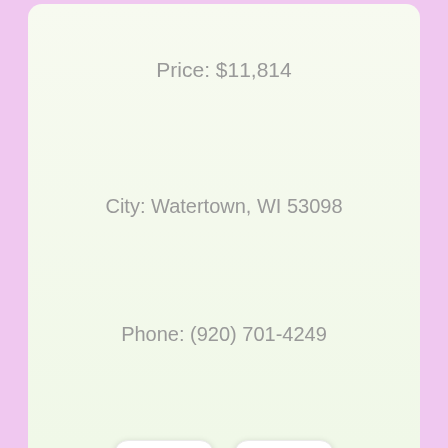Price: $11,814
City: Watertown, WI 53098
Phone: (920) 701-4249
[Figure (photo): Two small thumbnail photos of apartment/hotel building exteriors, displayed as cards]
[Figure (photo): Larger photo of a multi-story apartment or condominium building with palm trees and landscaping]